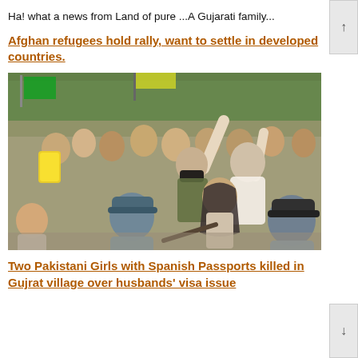Ha! what a news from Land of pure ...A Gujarati family...
Afghan refugees hold rally, want to settle in developed countries.
[Figure (photo): Photograph of Afghan refugees holding a rally with police in confrontation. A large crowd with people raising hands, some wearing masks, confronted by police officers in blue uniforms holding batons. Flags and trees visible in background.]
Two Pakistani Girls with Spanish Passports killed in Gujrat village over husbands' visa issue